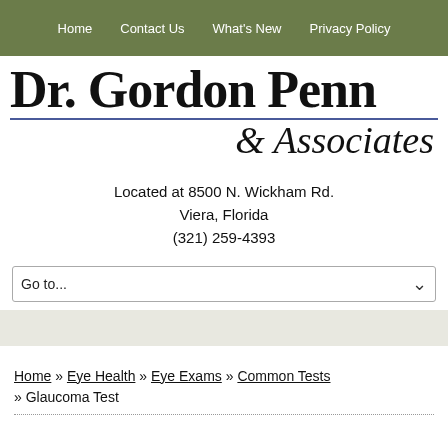Home | Contact Us | What's New | Privacy Policy
Dr. Gordon Penn & Associates
Located at 8500 N. Wickham Rd.
Viera, Florida
(321) 259-4393
Go to...
Home » Eye Health » Eye Exams » Common Tests » Glaucoma Test